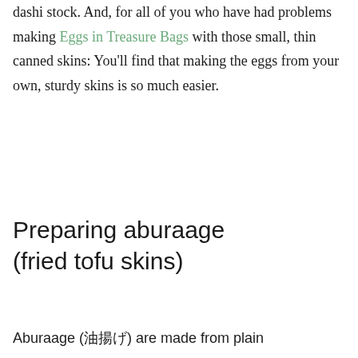dashi stock. And, for all of you who have had problems making Eggs in Treasure Bags with those small, thin canned skins: You'll find that making the eggs from your own, sturdy skins is so much easier.
Preparing aburaage (fried tofu skins)
Aburaage (油揚げ) are made from plain